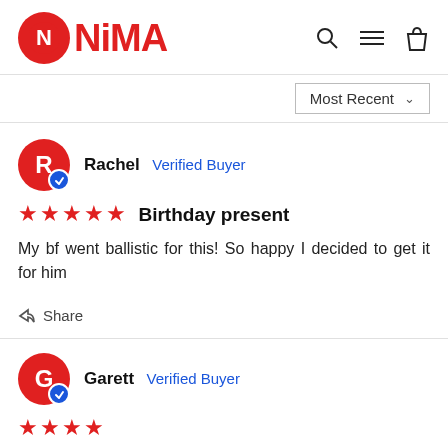[Figure (logo): NiMA brand logo with red circle containing stylized N and red NIMA text]
Most Recent ∨
Rachel  Verified Buyer
★★★★★  Birthday present
My bf went ballistic for this! So happy I decided to get it for him
↗ Share
Garett  Verified Buyer